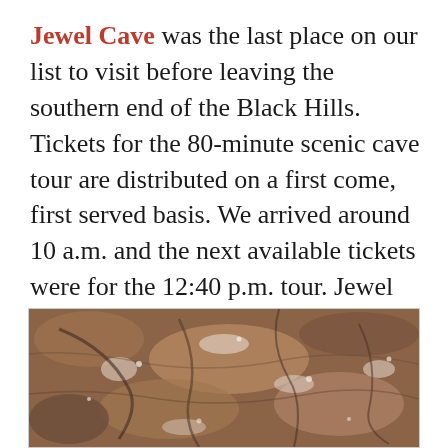Jewel Cave was the last place on our list to visit before leaving the southern end of the Black Hills. Tickets for the 80-minute scenic cave tour are distributed on a first come, first served basis. We arrived around 10 a.m. and the next available tickets were for the 12:40 p.m. tour. Jewel Cave is not as pretty as other caves we have toured. There aren't as many stalactites or stalagmites. But the sparkling quartz gives Jewel its own unique beauty.
[Figure (photo): Photograph of cave interior showing sparkling quartz crystal formations on rock walls with reddish-brown, tan and white coloring]